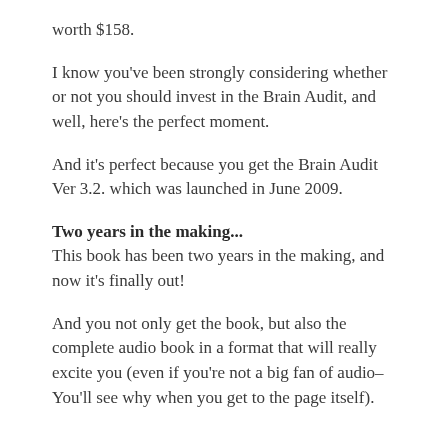worth $158.
I know you've been strongly considering whether or not you should invest in the Brain Audit, and well, here's the perfect moment.
And it's perfect because you get the Brain Audit Ver 3.2. which was launched in June 2009.
Two years in the making...
This book has been two years in the making, and now it's finally out!
And you not only get the book, but also the complete audio book in a format that will really excite you (even if you're not a big fan of audio– You'll see why when you get to the page itself).